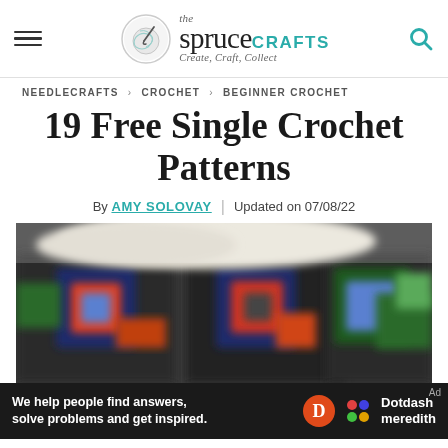the spruce CRAFTS — Create, Craft, Collect
NEEDLECRAFTS > CROCHET > BEGINNER CROCHET
19 Free Single Crochet Patterns
By AMY SOLOVAY | Updated on 07/08/22
[Figure (photo): Colorful crocheted granny squares with red, green, blue, and black yarn arranged in a pattern, blurred close-up.]
We help people find answers, solve problems and get inspired. Dotdash meredith